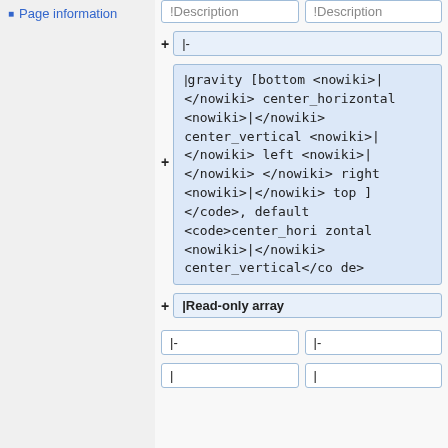Page information
!Description
!Description
|-
|<code>gravity [bottom <nowiki>|</nowiki> center_horizontal <nowiki>|</nowiki> center_vertical <nowiki>|</nowiki> left <nowiki>|</nowiki> </nowiki> right <nowiki>|</nowiki> top ]</code>, default <code>center_horizontal <nowiki>|</nowiki></nowiki> center_vertical</code>
|Read-only array
|-
|-
|
|